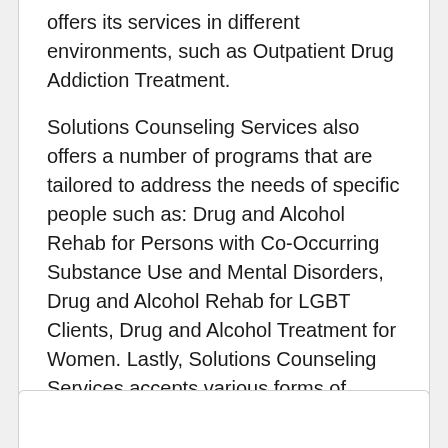offers its services in different environments, such as Outpatient Drug Addiction Treatment.

Solutions Counseling Services also offers a number of programs that are tailored to address the needs of specific people such as: Drug and Alcohol Rehab for Persons with Co-Occurring Substance Use and Mental Disorders, Drug and Alcohol Rehab for LGBT Clients, Drug and Alcohol Treatment for Women. Lastly, Solutions Counseling Services accepts various forms of payment, including Self or Cash Payment, Little to No Fee Payment.
...